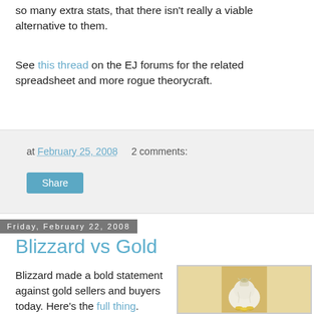so many extra stats, that there isn't really a viable alternative to them.
See this thread on the EJ forums for the related spreadsheet and more rogue theorycraft.
at February 25, 2008   2 comments:
Share
Friday, February 22, 2008
Blizzard vs Gold
Blizzard made a bold statement against gold sellers and buyers today. Here's the full thing.
Players who buy gold are supporting spamming, botting and keylogging -- activities
[Figure (photo): A white cloth bag tied at the top with gold coins visible at the bottom, on a sandy/golden background.]